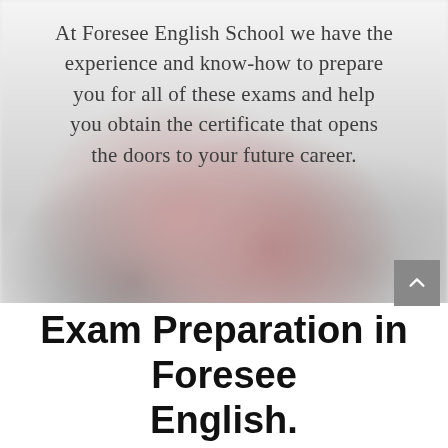[Figure (photo): A blurry/faded background photo of a student (woman with long hair) sitting at a desk, presumably studying or taking an exam. The image is light and washed out.]
At Foresee English School we have the experience and know-how to prepare you for all of these exams and help you obtain the certificate that opens the doors to your future career.
Exam Preparation in Foresee English.